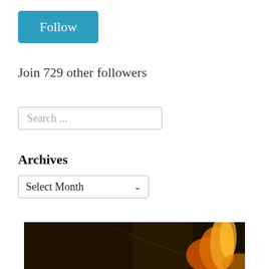Follow
Join 729 other followers
Search ...
Archives
Select Month
[Figure (photo): Dark background photo with orange and yellow flame or light visible in the lower right, suggesting a fire or candle image.]